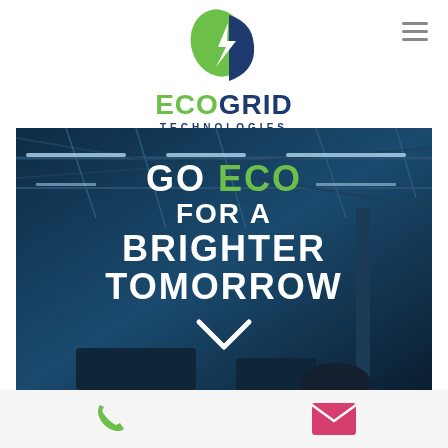[Figure (logo): EcoGrid Technologies logo — leaf+lightning bolt icon in green and blue, text ECO in green, GRID in dark blue, TECHNOLOGIES subtitle in dark blue]
[Figure (photo): Industrial warehouse interior with steel roof trusses and LED lighting strips, overlaid with large white text reading GO ECO FOR A BRIGHTER TOMORROW with a chevron arrow below, ECO in green]
[Figure (infographic): Footer bar with green phone handset icon on the left and pink/magenta email envelope icon on the right]